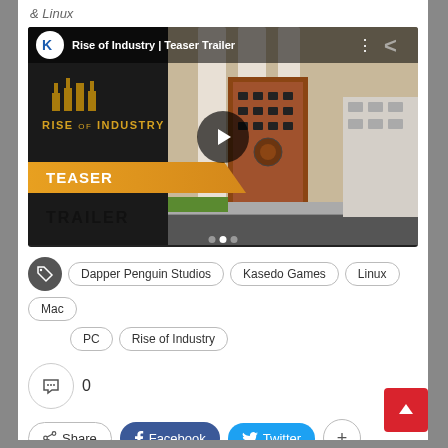& Linux
[Figure (screenshot): YouTube embedded video thumbnail for 'Rise of Industry | Teaser Trailer'. Shows the game logo on dark left panel with TEASER banner and TRAILER text, and a city scene with industrial buildings on the right.]
Dapper Penguin Studios
Kasedo Games
Linux
Mac
PC
Rise of Industry
0
Share  Facebook  Twitter  +